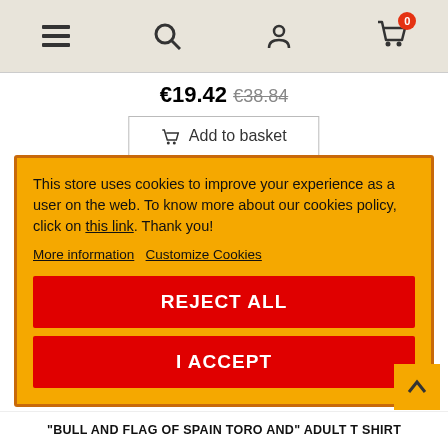[Figure (screenshot): E-commerce website navigation bar with hamburger menu, search, user, and cart icons. Cart shows badge '0'.]
€19.42  €38.84
Add to basket
[Figure (photo): T-shirt product image - Bull and Flag of Spain Toro design, appears as silhouette in yellow/black colors]
This store uses cookies to improve your experience as a user on the web. To know more about our cookies policy, click on this link. Thank you!
More information   Customize Cookies
REJECT ALL
I ACCEPT
"BULL AND FLAG OF SPAIN TORO AND" ADULT T SHIRT